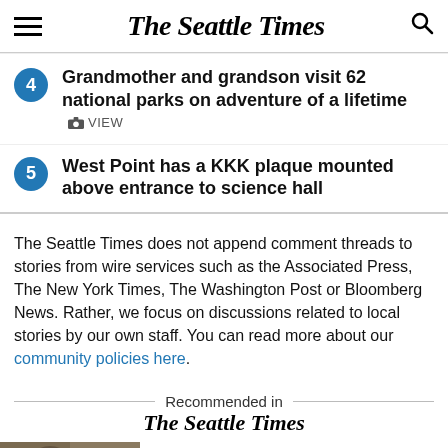The Seattle Times
4 Grandmother and grandson visit 62 national parks on adventure of a lifetime VIEW
5 West Point has a KKK plaque mounted above entrance to science hall
The Seattle Times does not append comment threads to stories from wire services such as the Associated Press, The New York Times, The Washington Post or Bloomberg News. Rather, we focus on discussions related to local stories by our own staff. You can read more about our community policies here.
Recommended in The Seattle Times
Betsy DeVos compares Joe Biden